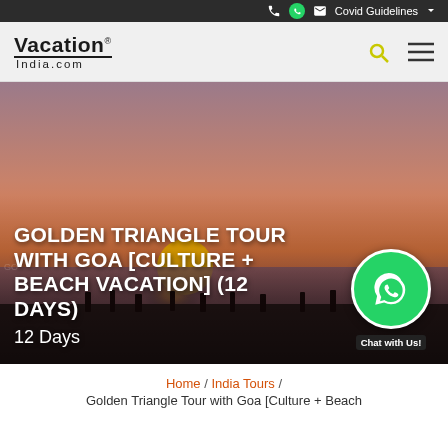Covid Guidelines
[Figure (logo): VacationIndia.com logo with search and menu icons]
[Figure (photo): Sunset beach scene with silhouettes of people, orange sky with sun on horizon]
GOLDEN TRIANGLE TOUR WITH GOA [CULTURE + BEACH VACATION] (12 DAYS)
12 Days
Home / India Tours / Golden Triangle Tour with Goa [Culture + Beach